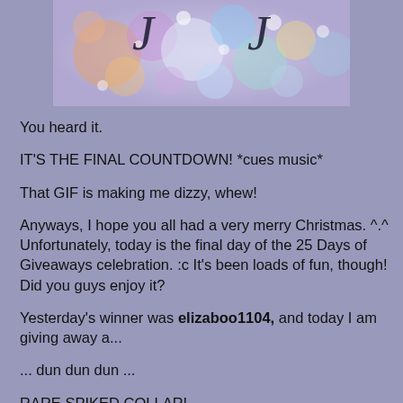[Figure (photo): A colorful bokeh background image with blurred lights in purple, blue, yellow, orange, and pink tones. Two ornamental J-shaped hooks or hangers are visible at the top.]
You heard it.
IT'S THE FINAL COUNTDOWN! *cues music*
That GIF is making me dizzy, whew!
Anyways, I hope you all had a very merry Christmas. ^.^ Unfortunately, today is the final day of the 25 Days of Giveaways celebration. :c It's been loads of fun, though! Did you guys enjoy it?
Yesterday's winner was elizaboo1104, and today I am giving away a...
... dun dun dun ...
RARE SPIKED COLLAR!